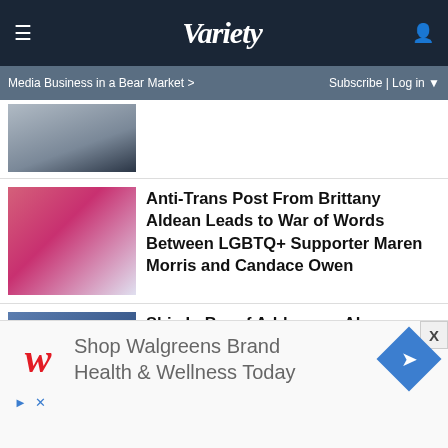VARIETY
Media Business in a Bear Market >    Subscribe | Log in
[Figure (photo): Partial view of a person in dark jacket at top of article list]
Anti-Trans Post From Brittany Aldean Leads to War of Words Between LGBTQ+ Supporter Maren Morris and Candace Owen
Shia LaBeouf Addresses Abuse Allegations: 'I F—ed Up,' 'I Hurt That Woman'
'Revolver' Confirmed as Next Beatles Album to
[Figure (screenshot): Shop Walgreens Brand Health & Wellness Today advertisement overlay]